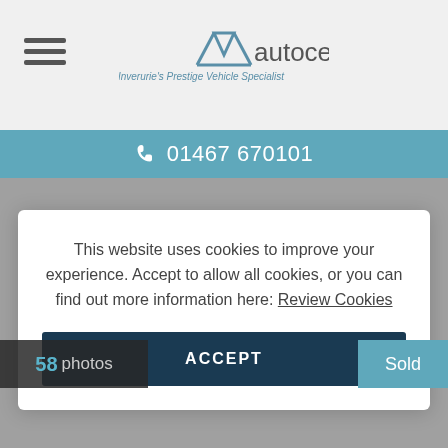[Figure (logo): Autocentre logo with text 'autocentre' and tagline 'Inverurie's Prestige Vehicle Specialist']
01467 670101
This website uses cookies to improve your experience. Accept to allow all cookies, or you can find out more information here: Review Cookies
ACCEPT
58 photos
Sold